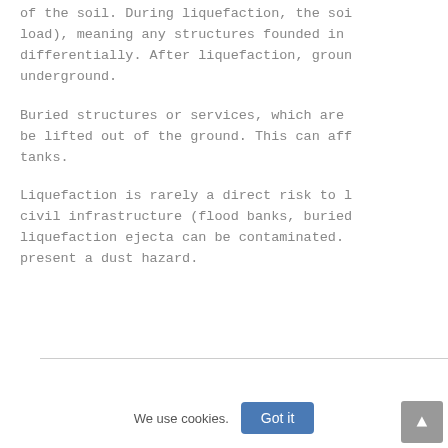of the soil. During liquefaction, the soi load), meaning any structures founded in differentially. After liquefaction, groun underground.
Buried structures or services, which are be lifted out of the ground. This can aff tanks.
Liquefaction is rarely a direct risk to l civil infrastructure (flood banks, buried liquefaction ejecta can be contaminated. present a dust hazard.